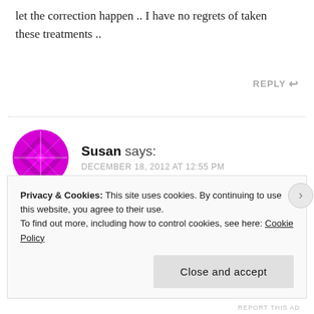let the correction happen .. I have no regrets of taken these treatments ..
REPLY
Susan says:
DECEMBER 18, 2012 AT 12:55 PM
...
Privacy & Cookies: This site uses cookies. By continuing to use this website, you agree to their use.
To find out more, including how to control cookies, see here: Cookie Policy
Close and accept